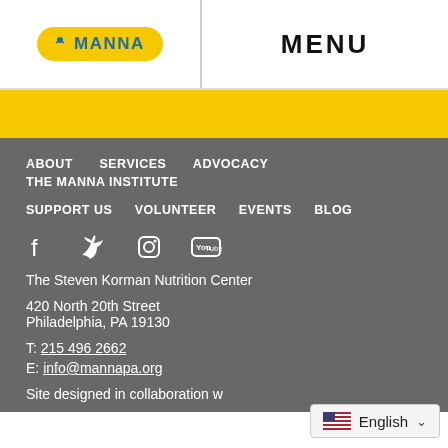MANNA | MENU
ABOUT
SERVICES
ADVOCACY
THE MANNA INSTITUTE
SUPPORT US
VOLUNTEER
EVENTS
BLOG
[Figure (logo): Social media icons: Facebook, Twitter, Instagram, YouTube]
The Steven Korman Nutrition Center
420 North 20th Street
Philadelphia, PA 19130
T: 215 496 2662
E: info@mannapa.org
Site designed in collaboration w
English